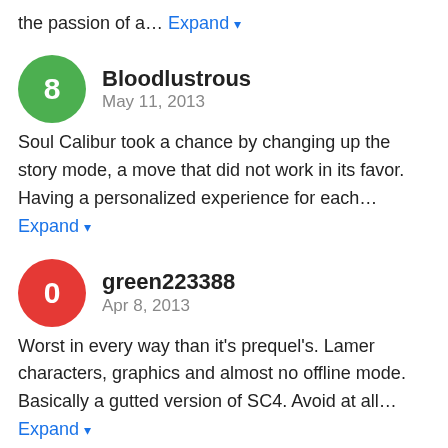the passion of a… Expand
Bloodlustrous
May 11, 2013
Soul Calibur took a chance by changing up the story mode, a move that did not work in its favor. Having a personalized experience for each… Expand
green223388
Apr 8, 2013
Worst in every way than it's prequel's. Lamer characters, graphics and almost no offline mode. Basically a gutted version of SC4. Avoid at all… Expand
AzureFlames
Jan 17, 2013
How did we come to this? Soul Calibur 4 was one of my